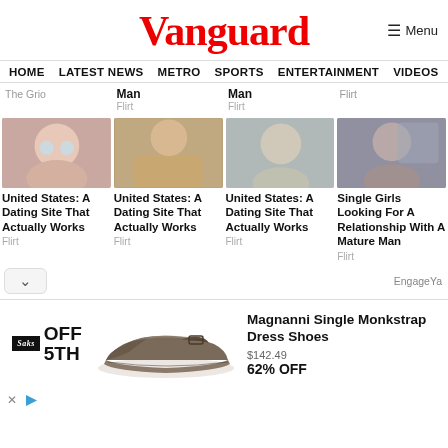Vanguard
Menu
HOME  LATEST NEWS  METRO  SPORTS  ENTERTAINMENT  VIDEOS
Man
Flirt
The Grio
Man
Flirt
Flirt
[Figure (photo): Woman with glasses and blonde hair]
United States: A Dating Site That Actually Works
Flirt
[Figure (photo): Woman in striped top sitting]
United States: A Dating Site That Actually Works
Flirt
[Figure (photo): Blonde woman in dark top]
United States: A Dating Site That Actually Works
Flirt
[Figure (photo): Dark-haired woman in white top]
Single Girls Looking For A Relationship With A Mature Man
Flirt
EngageYa
[Figure (photo): Advertisement: Saks Off 5th - Magnanni Single Monkstrap Dress Shoes $142.49 62% OFF]